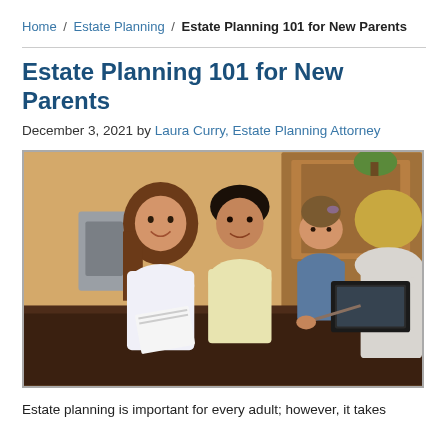Home / Estate Planning / Estate Planning 101 for New Parents
Estate Planning 101 for New Parents
December 3, 2021 by Laura Curry, Estate Planning Attorney
[Figure (photo): A family with a young daughter sitting at a table with an attorney who is showing them documents on a laptop and paper.]
Estate planning is important for every adult; however, it takes